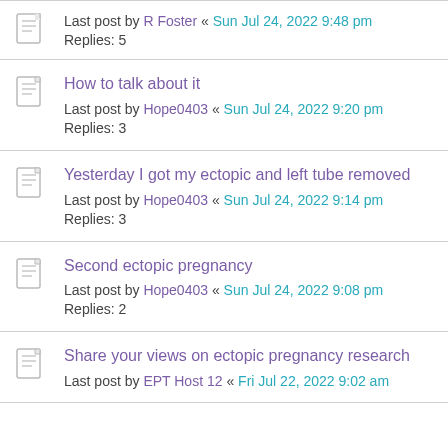Last post by R Foster « Sun Jul 24, 2022 9:48 pm
Replies: 5
How to talk about it
Last post by Hope0403 « Sun Jul 24, 2022 9:20 pm
Replies: 3
Yesterday I got my ectopic and left tube removed
Last post by Hope0403 « Sun Jul 24, 2022 9:14 pm
Replies: 3
Second ectopic pregnancy
Last post by Hope0403 « Sun Jul 24, 2022 9:08 pm
Replies: 2
Share your views on ectopic pregnancy research
Last post by EPT Host 12 « Fri Jul 22, 2022 9:02 am